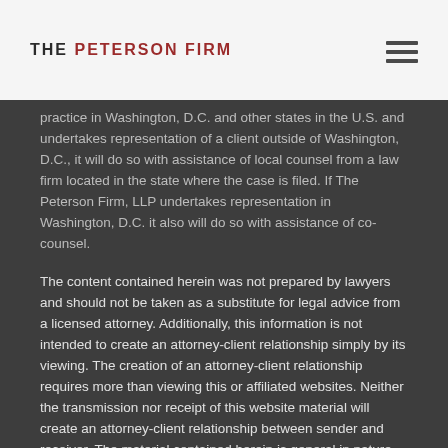THE PETERSON FIRM
practice in Washington, D.C. and other states in the U.S. and undertakes representation of a client outside of Washington, D.C., it will do so with assistance of local counsel from a law firm located in the state where the case is filed. If The Peterson Firm, LLP undertakes representation in Washington, D.C. it also will do so with assistance of co-counsel.
The content contained herein was not prepared by lawyers and should not be taken as a substitute for legal advice from a licensed attorney. Additionally, this information is not intended to create an attorney-client relationship simply by its viewing. The creation of an attorney-client relationship requires more than viewing this or affiliated websites. Neither the transmission nor receipt of this website material will create an attorney-client relationship between sender and receiver. The material contained herein is general in nature and may or may not be applicable to a viewer's individual legal needs. Online readers should not act on this information without seeking professional counsel. Please read our Terms & Conditions of Use for more information.
Copyright © 2015 The Peterson Firm, LLP | Privacy Policy